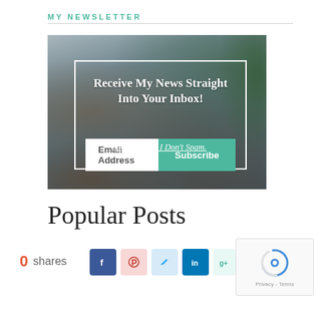MY NEWSLETTER
[Figure (photo): Newsletter signup widget over a photo of a person using a laptop on a wooden desk with plants, featuring a white-bordered overlay with 'Receive My News Straight Into Your Inbox!' headline, email input field, teal Subscribe button, and 'Don't Worry, I Don't Spam.' text]
Popular Posts
0 shares